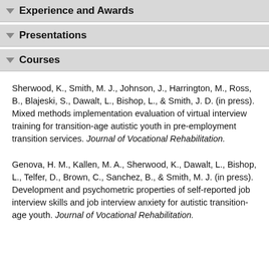Experience and Awards
Presentations
Courses
Sherwood, K., Smith, M. J., Johnson, J., Harrington, M., Ross, B., Blajeski, S., Dawalt, L., Bishop, L., & Smith, J. D. (in press). Mixed methods implementation evaluation of virtual interview training for transition-age autistic youth in pre-employment transition services. Journal of Vocational Rehabilitation.
Genova, H. M., Kallen, M. A., Sherwood, K., Dawalt, L., Bishop, L., Telfer, D., Brown, C., Sanchez, B., & Smith, M. J. (in press). Development and psychometric properties of self-reported job interview skills and job interview anxiety for autistic transition-age youth. Journal of Vocational Rehabilitation.